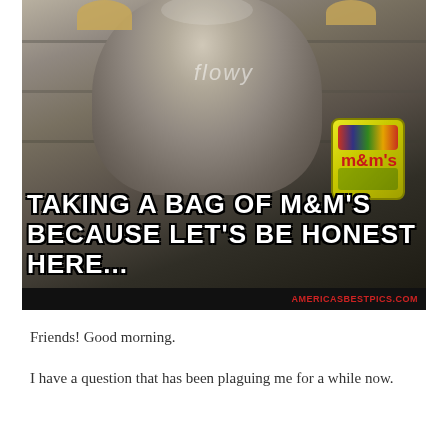[Figure (photo): A Baby Yoda (Grogu) figurine wearing a brown robe, holding a bag of M&Ms. Text overlay reads 'flowy' in italic white, and large bold white text reads 'TAKING A BAG OF M&M'S BECAUSE LET'S BE HONEST HERE...' with watermark AMERICASBESTPICS.COM at the bottom.]
Friends! Good morning.
I have a question that has been plaguing me for a while now.